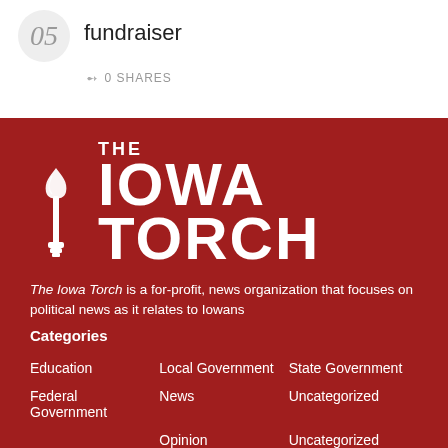05  fundraiser
0 SHARES
[Figure (logo): The Iowa Torch logo with torch icon on dark red background]
The Iowa Torch is a for-profit, news organization that focuses on political news as it relates to Iowans
Categories
Education
Local Government
State Government
Federal Government
News
Uncategorized
Opinion
Uncategorized
Iowa History
Politics